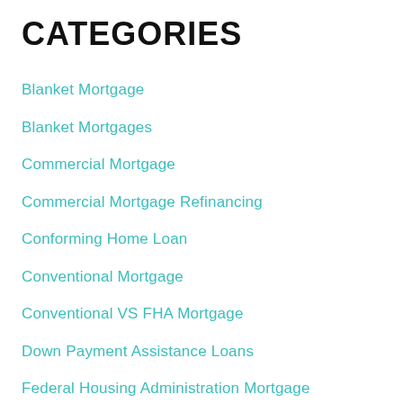CATEGORIES
Blanket Mortgage
Blanket Mortgages
Commercial Mortgage
Commercial Mortgage Refinancing
Conforming Home Loan
Conventional Mortgage
Conventional VS FHA Mortgage
Down Payment Assistance Loans
Federal Housing Administration Mortgage
FHA Construction Mortgage
FHA Insured Mortgage Program
FHA Loan Guidelines